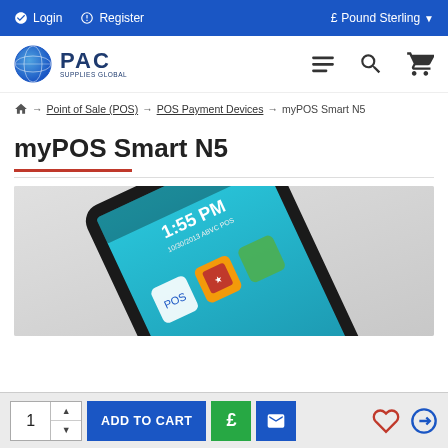Login  Register  £ Pound Sterling
[Figure (logo): PAC Supplies Global logo — globe icon with PAC text]
Point of Sale (POS) → POS Payment Devices → myPOS Smart N5
myPOS Smart N5
[Figure (photo): myPOS Smart N5 payment device shown at an angle, displaying a blue screen with apps and time 1:55 PM]
1  ADD TO CART  £  (email icon)  (heart icon)  (compare icon)